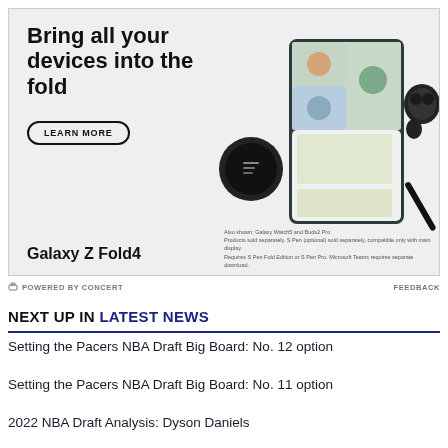[Figure (advertisement): Samsung Galaxy Z Fold4 advertisement showing 'Bring all your devices into the fold' with a LEARN MORE button. Shows Galaxy Z Fold4 phone, Galaxy Watch5, Buds2 Pro, and S Pen devices. Text: Also shown: Galaxy Watch5 and Buds2 Pro. Products sold separately. S Pen (optional) sold separately, compatible only with main display. Requires S Pen Fold Edition or S Pen Pro. Microsoft Teams requires separate download.]
POWERED BY CONCERT    FEEDBACK
NEXT UP IN LATEST NEWS
Setting the Pacers NBA Draft Big Board: No. 12 option
Setting the Pacers NBA Draft Big Board: No. 11 option
2022 NBA Draft Analysis: Dyson Daniels